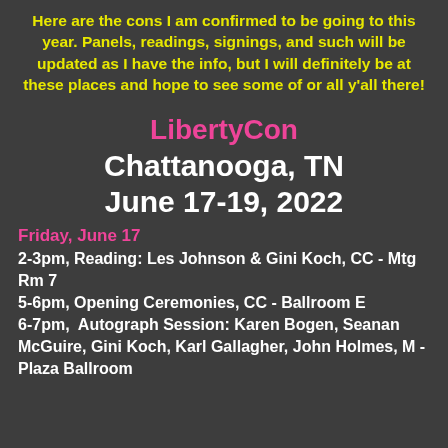Here are the cons I am confirmed to be going to this year. Panels, readings, signings, and such will be updated as I have the info, but I will definitely be at these places and hope to see some of or all y'all there!
LibertyCon
Chattanooga, TN
June 17-19, 2022
Friday, June 17
2-3pm, Reading: Les Johnson & Gini Koch, CC - Mtg Rm 7
5-6pm, Opening Ceremonies, CC - Ballroom E
6-7pm,  Autograph Session: Karen Bogen, Seanan McGuire, Gini Koch, Karl Gallagher, John Holmes, M - Plaza Ballroom